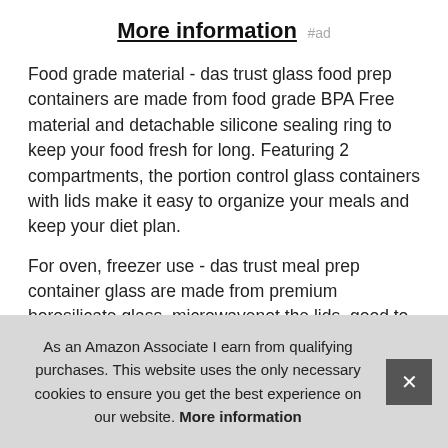More information #ad
Food grade material - das trust glass food prep containers are made from food grade BPA Free material and detachable silicone sealing ring to keep your food fresh for long. Featuring 2 compartments, the portion control glass containers with lids make it easy to organize your meals and keep your diet plan.
For oven, freezer use - das trust meal prep container glass are made from premium borosilicate glass, microwavenot the lids, good to use up to 752°F in oven & microwave, dishwasher, great alternative to plastic. Quality customer care - das trust is always dedicated in offering you great products of good quality 100% satisfaction & broken or scratched glass & damaged portable container sets under our quality guarantee & allow
As an Amazon Associate I earn from qualifying purchases. This website uses the only necessary cookies to ensure you get the best experience on our website. More information